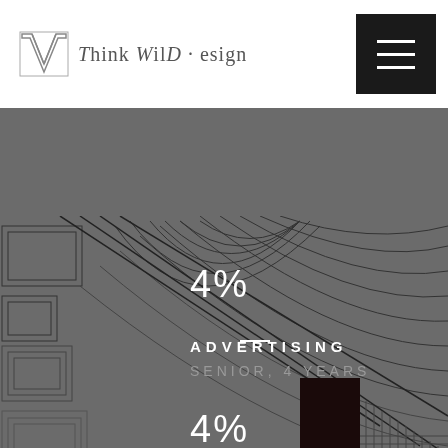[Figure (logo): Think Wild Design logo with geometric W icon and stylized text]
[Figure (illustration): Dark grey background with abstract line art decorative overlay showing geometric and curved patterns. Contains white text: a dash/underscore, '4%', 'ADVERTISING', 'SENIOR, 4 YEARS', '4%'. A dark vertical bar element and partial arc drawn in the lower center area.]